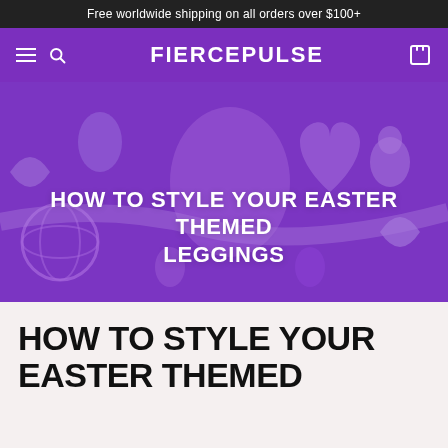Free worldwide shipping on all orders over $100+
FIERCEPULSE
[Figure (photo): Purple-tinted hero image of Easter-themed decorative items including eggs, hearts, a wicker ball, and ribbons, with white bold text overlay reading HOW TO STYLE YOUR EASTER THEMED LEGGINGS]
HOW TO STYLE YOUR EASTER THEMED